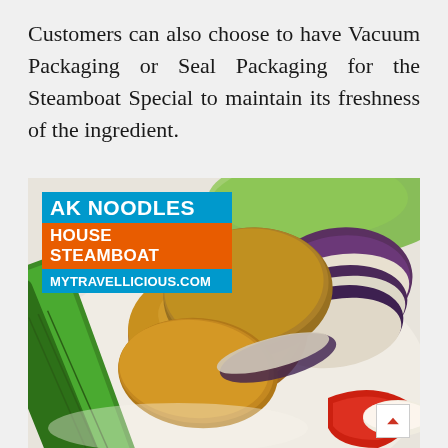Customers can also choose to have Vacuum Packaging or Seal Packaging for the Steamboat Special to maintain its freshness of the ingredient.
[Figure (photo): Close-up photo of stuffed eggplant slices (yong tau foo style) with green okra, red pepper, and other vegetables on a white plate, overlaid with 'AK NOODLES HOUSE STEAMBOAT MYTRAVELLICIOUS.COM' branding logo in blue and orange.]